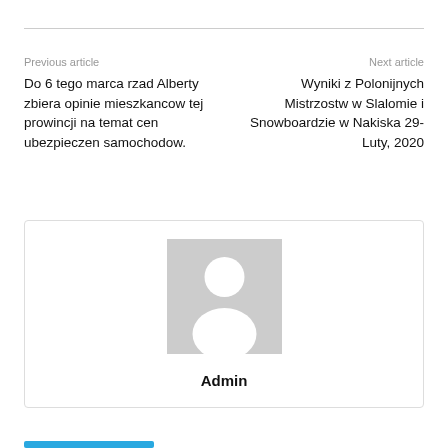Previous article
Next article
Do 6 tego marca rzad Alberty zbiera opinie mieszkancow tej prowincji na temat cen ubezpieczen samochodow.
Wyniki z Polonijnych Mistrzostw w Slalomie i Snowboardzie w Nakiska 29-Luty, 2020
[Figure (photo): Default avatar placeholder image showing silhouette of a person on grey background]
Admin